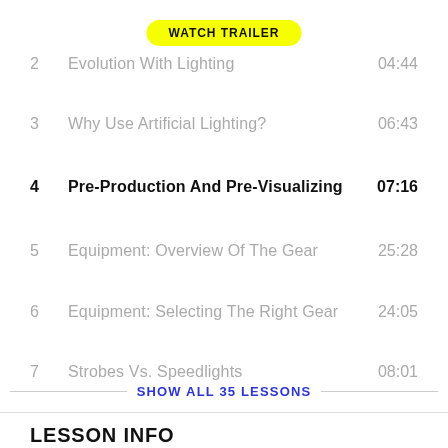[Figure (other): Yellow 'WATCH TRAILER' button]
2  Evolution With Lighting  04:44
3  Why Use Artificial Lighting?  06:43
4  Pre-Production And Pre-Visualizing  07:16
5  Equipment: Overview Of The Gear  25:28
6  Equipment: Selecting The Right Gear  24:05
7  Strobes Vs. Speedlights  08:01
8  Lighting 101: Flash Sync Speeds  14:35
SHOW ALL 35 LESSONS
LESSON INFO